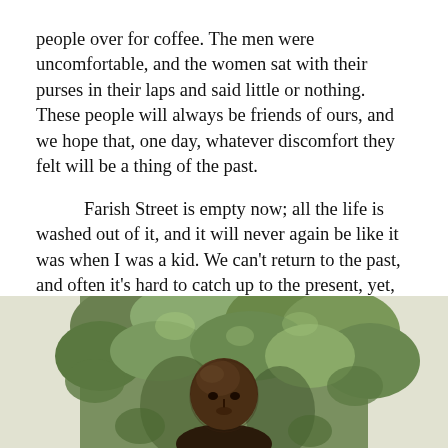people over for coffee. The men were uncomfortable, and the women sat with their purses in their laps and said little or nothing. These people will always be friends of ours, and we hope that, one day, whatever discomfort they felt will be a thing of the past.
Farish Street is empty now; all the life is washed out of it, and it will never again be like it was when I was a kid. We can't return to the past, and often it's hard to catch up to the present, yet, after eighty years, I find myself looking down the road to bridges I'd like to cross. All I can say now is what I said to Wilpert Bradley on the Spanish Steps so many years ago: “I’m travelling and living my life. Ain’t no problem.”
[Figure (photo): A bald man outdoors surrounded by green foliage and trees, photographed from approximately chest level up.]